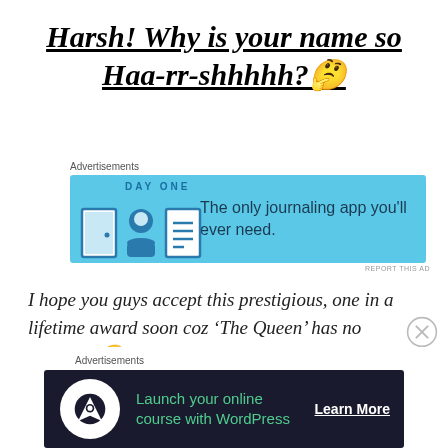Harsh! Why is your name so Haa-rr-shhhhh? 🤔
[Figure (other): Day One journaling app advertisement banner with blue background, icons, and text: The only journaling app you'll ever need.]
I hope you guys accept this prestigious, one in a lifetime award soon coz 'The Queen' has no patience! 🙄
[Figure (other): Launch your online course with WordPress advertisement banner with dark background, WordPress shield icon, green text, and Learn More button.]